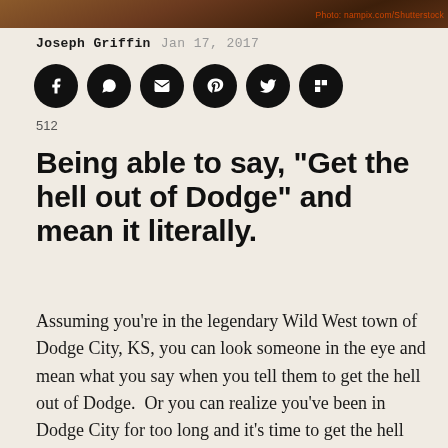[Figure (photo): Partial photo strip at top of page showing a landscape or scene, cropped]
Photo: nampix.com/Shutterstock
Joseph Griffin   Jan 17, 2017
[Figure (infographic): Social sharing icons row: Facebook, WhatsApp, Email, Pinterest, Twitter, Flipboard — all black circles with white icons]
512
Being able to say, “Get the hell out of Dodge” and mean it literally.
Assuming you’re in the legendary Wild West town of Dodge City, KS, you can look someone in the eye and mean what you say when you tell them to get the hell out of Dodge.  Or you can realize you’ve been in Dodge City for too long and it’s time to get the hell out of Dodge yourself.  Either way, this phrase means more in Kansas than anywhere else in the world.